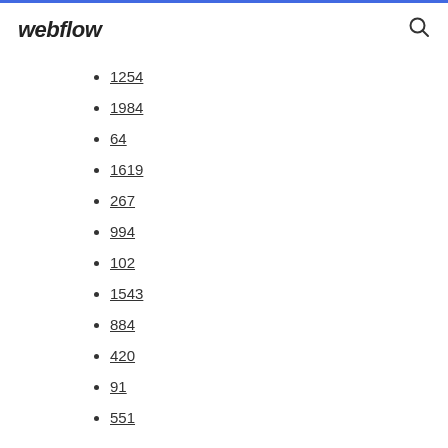webflow
1254
1984
64
1619
267
994
102
1543
884
420
91
551